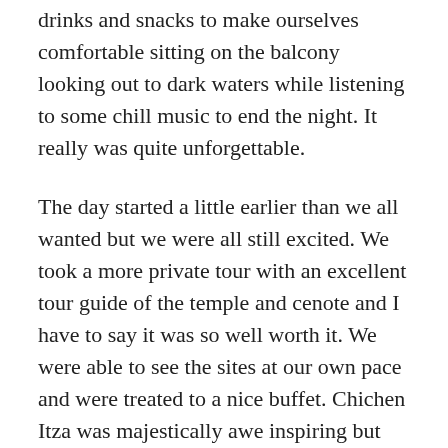drinks and snacks to make ourselves comfortable sitting on the balcony looking out to dark waters while listening to some chill music to end the night. It really was quite unforgettable.
The day started a little earlier than we all wanted but we were all still excited. We took a more private tour with an excellent tour guide of the temple and cenote and I have to say it was so well worth it. We were able to see the sites at our own pace and were treated to a nice buffet. Chichen Itza was majestically awe inspiring but the time spent in the cenote felt otherworldly and surreal. After an educational day spent in the hot sun, drifting in the cold and clean water of the cenote revitalized both body and soul.